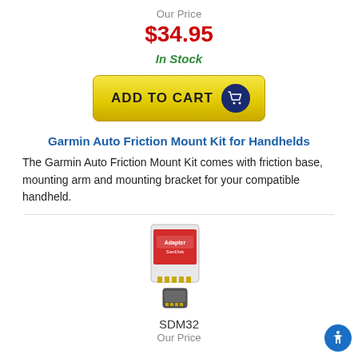Our Price
$34.95
In Stock
[Figure (other): Yellow 'ADD TO CART' button with dark blue circle containing a shopping cart icon]
Garmin Auto Friction Mount Kit for Handhelds
The Garmin Auto Friction Mount Kit comes with friction base, mounting arm and mounting bracket for your compatible handheld.
[Figure (photo): SanDisk SD memory card adapter with micro SD card below it]
SDM32
Our Price